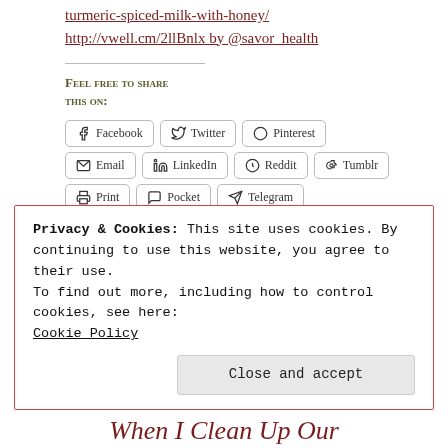turmeric-spiced-milk-with-honey/. http://vwell.cm/2llBnlx by @savor_health
Feel free to share this on:
[Figure (other): Social media share buttons: Facebook, Twitter, Pinterest, Email, LinkedIn, Reddit, Tumblr, Print, Pocket, Telegram, WhatsApp, Skype]
Loading...
Privacy & Cookies: This site uses cookies. By continuing to use this website, you agree to their use. To find out more, including how to control cookies, see here: Cookie Policy
Close and accept
When I Clean Up Our